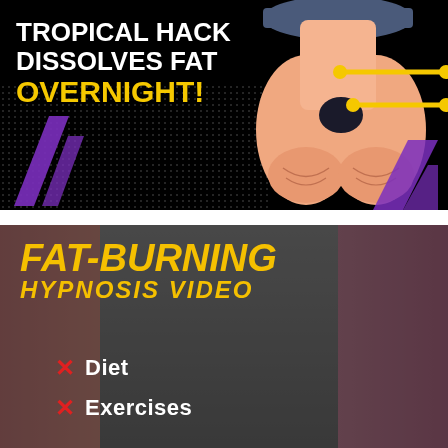[Figure (illustration): Advertisement thumbnail with black background, cartoon illustration of lower body with yellow measurement arrows, and bold white/yellow text reading 'TROPICAL HACK DISSOLVES FAT OVERNIGHT!' with purple decorative slash shapes and a dotted pattern background.]
[Figure (illustration): Advertisement thumbnail with dark-overlaid photo of slim female midsection. Bold gold/yellow italic text reads 'FAT-BURNING HYPNOSIS VIDEO' with red X marks next to 'Diet' and 'Exercises' in white text below.]